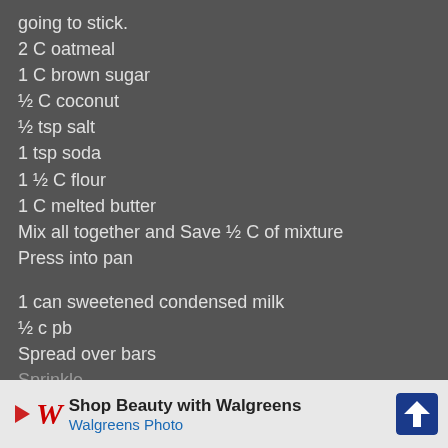going to stick.
2 C oatmeal
1 C brown sugar
½ C coconut
½ tsp salt
1 tsp soda
1 ½ C flour
1 C melted butter
Mix all together and Save ½ C of mixture
Press into pan
1 can sweetened condensed milk
½ c pb
Spread over bars
Sprinkle
3/4 C p...